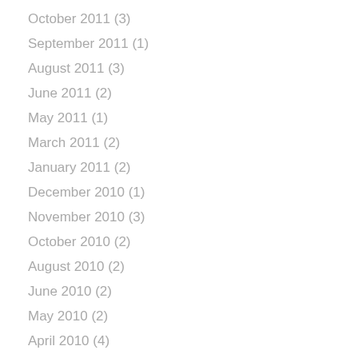October 2011 (3)
September 2011 (1)
August 2011 (3)
June 2011 (2)
May 2011 (1)
March 2011 (2)
January 2011 (2)
December 2010 (1)
November 2010 (3)
October 2010 (2)
August 2010 (2)
June 2010 (2)
May 2010 (2)
April 2010 (4)
March 2010 (3)
February 2010 (5)
January 2010 (10)